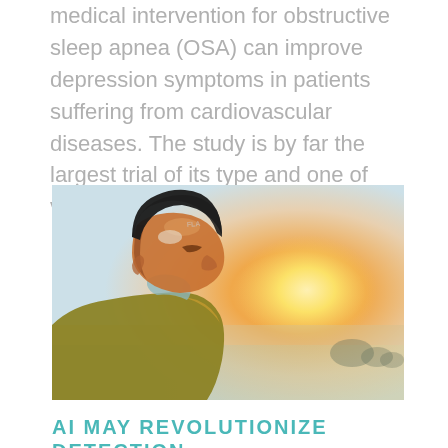medical intervention for obstructive sleep apnea (OSA) can improve depression symptoms in patients suffering from cardiovascular diseases. The study is by far the largest trial of its type and one of very few studies...
[Figure (photo): Profile photo of an elderly man wearing a dark beanie hat and a yellow/olive jacket, photographed against a warm sunset background with golden light illuminating his face from the side.]
AI MAY REVOLUTIONIZE DETECTION